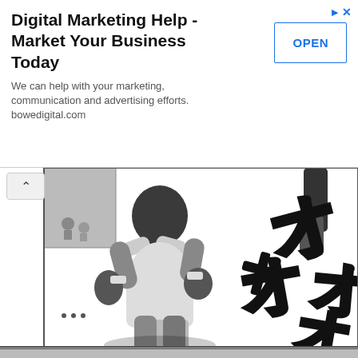[Figure (illustration): Advertisement banner: Digital Marketing Help - Market Your Business Today. Shows title text, OPEN button, and description about bowedigital.com]
[Figure (illustration): Manga/comic panel showing a muscular boxer character viewed from behind, with Japanese katakana sound effect characters (オラ meaning 'Ora') in bold outlined text. Black and white manga art style with crowd visible in background.]
[Figure (illustration): Partial view of another manga panel at the bottom of the page.]